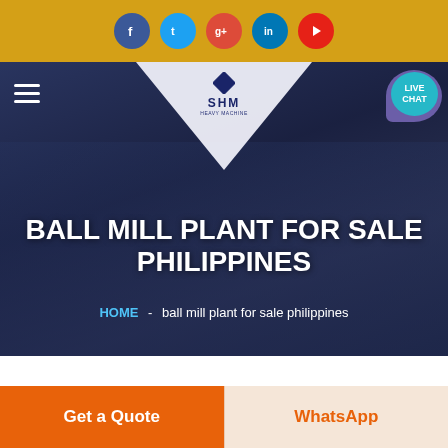[Figure (screenshot): Social media icon bar with Facebook, Twitter, Google+, LinkedIn, YouTube icons on golden/amber background]
[Figure (screenshot): Website header with hamburger menu, SHM logo triangle, LIVE CHAT bubble, dark overlay hero banner showing hands working on documents]
BALL MILL PLANT FOR SALE PHILIPPINES
HOME  -  ball mill plant for sale philippines
[Figure (photo): Partial view of industrial/warehouse building interior]
Get a Quote
WhatsApp